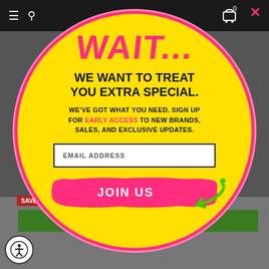[Figure (screenshot): Website navigation bar with hamburger menu, search icon, close X button, and cart icon on dark background]
[Figure (infographic): Yellow circular popup modal with pink border containing 'WAIT...' heading, promotional text, email input field, and JOIN US button with green arrow]
WAIT...
WE WANT TO TREAT YOU EXTRA SPECIAL.
WE'VE GOT WHAT YOU NEED. SIGN UP FOR EARLY ACCESS TO NEW BRANDS, SALES, AND EXCLUSIVE UPDATES.
EMAIL ADDRESS
JOIN US
SAVE 15%
[Figure (infographic): Green bar at the bottom of the page, accessibility button circle at bottom left]